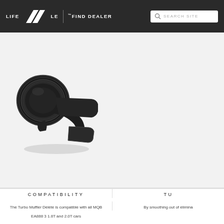LIFESTYLE | FIND DEALER | SEARCH SITE
[Figure (photo): A black anodized aluminum turbo muffler delete fitting/adapter for MQB EA888 1.8T and 2.0T cars. The part is a short curved pipe fitting with threaded sections and mounting flanges, photographed on a white background.]
COMPATIBILITY
The Turbo Muffler Delete is compatible with all MQB EA888 3 1.8T and 2.0T cars
TU
By smoothing out of elimina